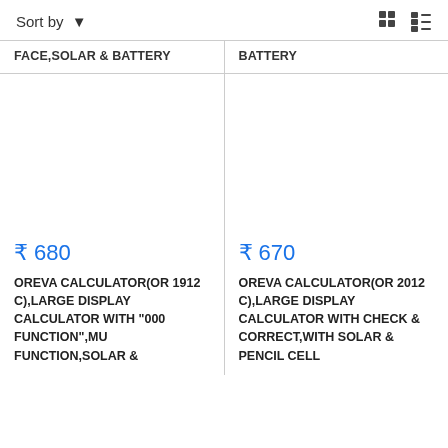Sort by
FACE,SOLAR & BATTERY
BATTERY
₹ 680
OREVA CALCULATOR(OR 1912 C),LARGE DISPLAY CALCULATOR WITH "000 FUNCTION",MU FUNCTION,SOLAR &
₹ 670
OREVA CALCULATOR(OR 2012 C),LARGE DISPLAY CALCULATOR WITH CHECK & CORRECT,WITH SOLAR & PENCIL CELL